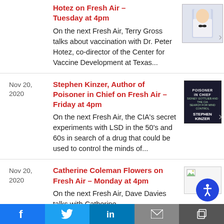Hotez on Fresh Air – Tuesday at 4pm
On the next Fresh Air, Terry Gross talks about vaccination with Dr. Peter Hotez, co-director of the Center for Vaccine Development at Texas...
Nov 20, 2020 | Stephen Kinzer, Author of Poisoner in Chief on Fresh Air – Friday at 4pm
On the next Fresh Air, the CIA's secret experiments with LSD in the 50's and 60s in search of a drug that could be used to control the minds of...
Nov 20, 2020 | Catherine Coleman Flowers on Fresh Air – Monday at 4pm
On the next Fresh Air, Dave Davies talks with Catherine...